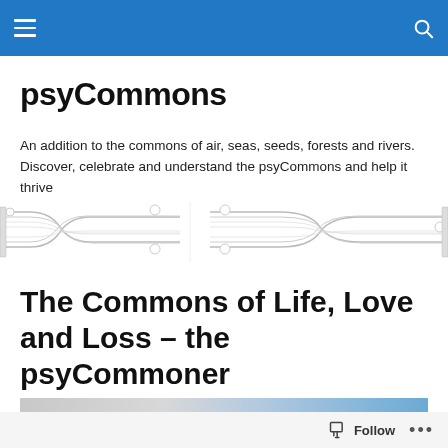psyCommons navigation bar
psyCommons
An addition to the commons of air, seas, seeds, forests and rivers. Discover, celebrate and understand the psyCommons and help it thrive
[Figure (schematic): Technical schematic drawing showing pipe or conduit S-bend and U-bend shapes with connector fittings, rendered as a line drawing]
The Commons of Life, Love and Loss – the psyCommoner
[Figure (photo): Partially visible article header image showing a gradient from light grey/silver to blue sky]
Follow ...